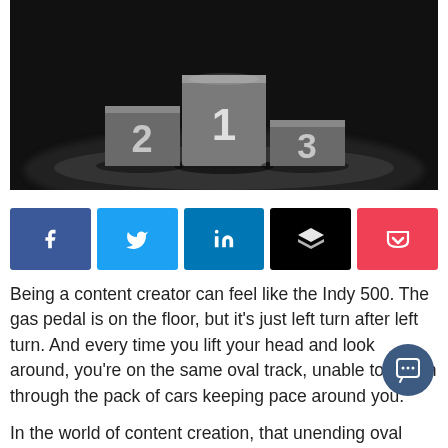[Figure (photo): Dark podium with glowing numbers 1, 2, 3 on stepped platforms under spotlight]
[Figure (infographic): Social media share buttons: Facebook, Twitter, LinkedIn, Buffer, Pocket]
Being a content creator can feel like the Indy 500. The gas pedal is on the floor, but it's just left turn after left turn. And every time you lift your head and look around, you're on the same oval track, unable to punch through the pack of cars keeping pace around you.
In the world of content creation, that unending oval